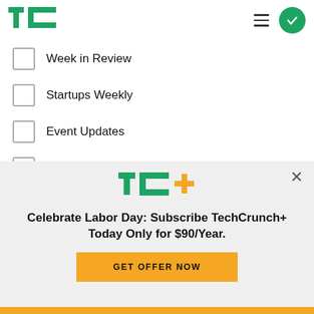TechCrunch
Week in Review
Startups Weekly
Event Updates
Advertising Updates
TechCrunch+ Announcements
TechCrunch+ Events
TechCrunch+ Roundup
[Figure (logo): TC+ logo with green TC and yellow/gold plus sign]
Celebrate Labor Day: Subscribe TechCrunch+ Today Only for $90/Year.
GET OFFER NOW